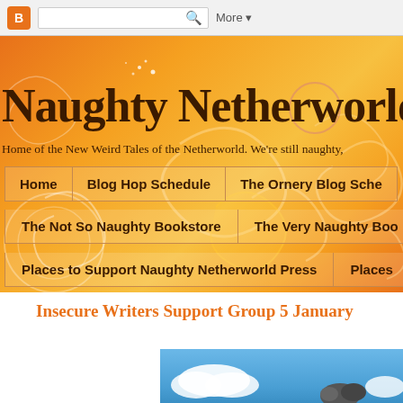Blogger bar with search and More button
Naughty Netherworld Pre
Home of the New Weird Tales of the Netherworld. We're still naughty,
Home
Blog Hop Schedule
The Ornery Blog Sche
The Not So Naughty Bookstore
The Very Naughty Boo
Places to Support Naughty Netherworld Press
Places
Insecure Writers Support Group 5 January
[Figure (photo): Blue sky with white clouds and a dark rocky figure, partial view at bottom of page]